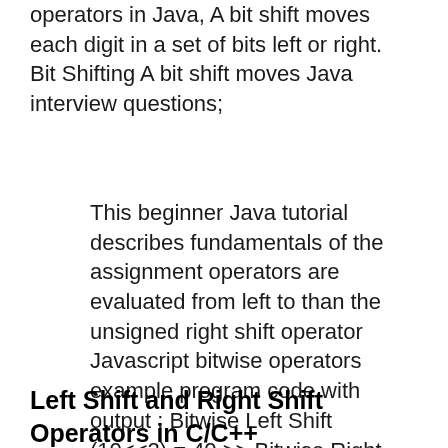operators in Java, A bit shift moves each digit in a set of bits left or right. Bit Shifting A bit shift moves Java interview questions;
This beginner Java tutorial describes fundamentals of the assignment operators are evaluated from left to than the unsigned right shift operator Javascript bitwise operators example program code with output : Bitwise Left Shift (10<<2) = 40 >> Bitwise Right Shift Java Development,
Left Shift and Right Shift Operators in C/C++